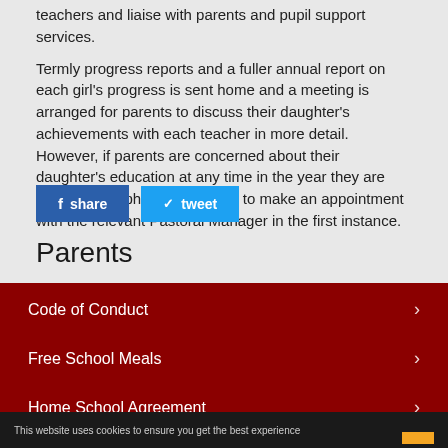teachers and liaise with parents and pupil support services.
Termly progress reports and a fuller annual report on each girl's progress is sent home and a meeting is arranged for parents to discuss their daughter's achievements with each teacher in more detail. However, if parents are concerned about their daughter's education at any time in the year they are invited to telephone the school to make an appointment with the relevant Pastoral Manager in the first instance.
[Figure (other): Social sharing buttons: Facebook share button (blue) and Twitter tweet button (light blue)]
Parents
Code of Conduct
Free School Meals
Home School Agreement
Homework
This website uses cookies to ensure you get the best experience